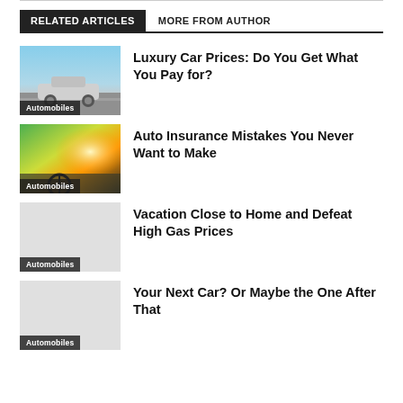RELATED ARTICLES | MORE FROM AUTHOR
Luxury Car Prices: Do You Get What You Pay for?
Auto Insurance Mistakes You Never Want to Make
Vacation Close to Home and Defeat High Gas Prices
Your Next Car? Or Maybe the One After That